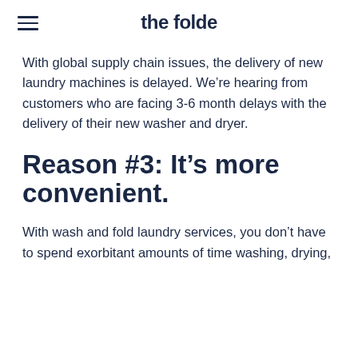the folde
With global supply chain issues, the delivery of new laundry machines is delayed. We’re hearing from customers who are facing 3-6 month delays with the delivery of their new washer and dryer.
Reason #3: It’s more convenient.
With wash and fold laundry services, you don’t have to spend exorbitant amounts of time washing, drying,